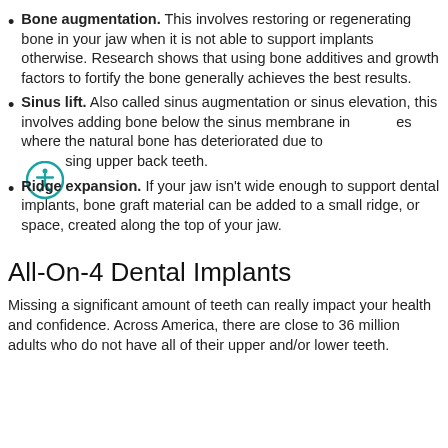Bone augmentation. This involves restoring or regenerating bone in your jaw when it is not able to support implants otherwise. Research shows that using bone additives and growth factors to fortify the bone generally achieves the best results.
Sinus lift. Also called sinus augmentation or sinus elevation, this involves adding bone below the sinus membrane in cases where the natural bone has deteriorated due to missing upper back teeth.
Ridge expansion. If your jaw isn't wide enough to support dental implants, bone graft material can be added to a small ridge, or space, created along the top of your jaw.
All-On-4 Dental Implants
Missing a significant amount of teeth can really impact your health and confidence. Across America, there are close to 36 million adults who do not have all of their upper and/or lower teeth.